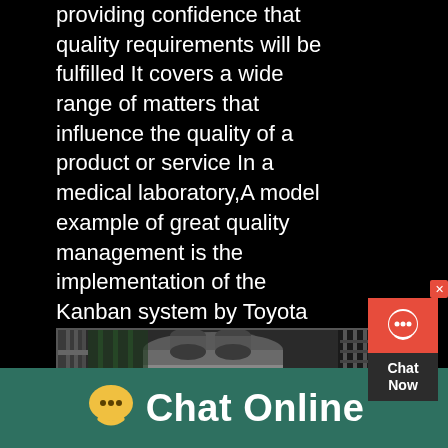providing confidence that quality requirements will be fulfilled It covers a wide range of matters that influence the quality of a product or service In a medical laboratory,A model example of great quality management is the implementation of the Kanban system by Toyota Corporation Kanban is an inventory control system that was developed by Taiichi Ohno to create visibility for both the suppliers and buyers to help limit theQuality Management Understanding How Quality
[Figure (screenshot): Chat widget with red background showing chat icon and 'Chat Now' text]
[Figure (photo): Industrial machinery photo showing large cylindrical tanks and metal structures in a factory or industrial facility]
Chat Online